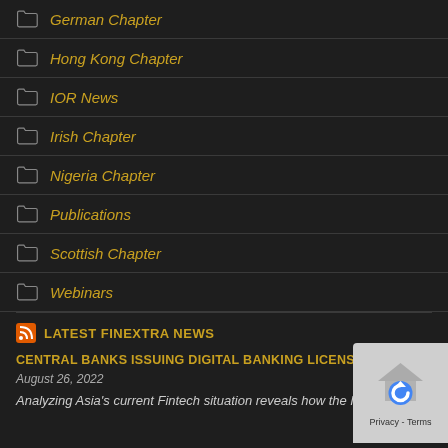German Chapter
Hong Kong Chapter
IOR News
Irish Chapter
Nigeria Chapter
Publications
Scottish Chapter
Webinars
LATEST FINEXTRA NEWS
CENTRAL BANKS ISSUING DIGITAL BANKING LICENSES IN FEAR OF FINTECH'S QU
August 26, 2022
Analyzing Asia's current Fintech situation reveals how the leading digital